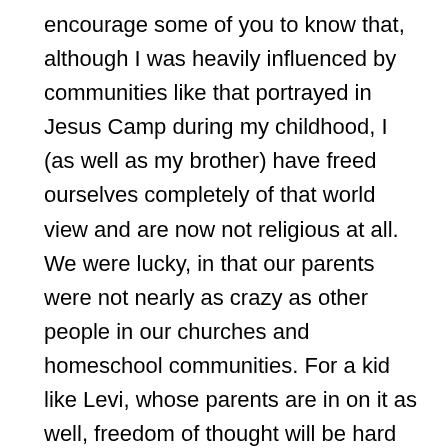encourage some of you to know that, although I was heavily influenced by communities like that portrayed in Jesus Camp during my childhood, I (as well as my brother) have freed ourselves completely of that world view and are now not religious at all. We were lucky, in that our parents were not nearly as crazy as other people in our churches and homeschool communities. For a kid like Levi, whose parents are in on it as well, freedom of thought will be hard won. I'm glad to hear he has facebook friends arguing with him.